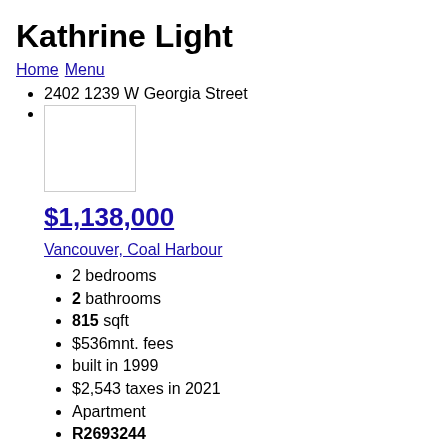Kathrine Light
Home Menu
2402 1239 W Georgia Street
[Figure (photo): Property photo placeholder image]
$1,138,000
Vancouver, Coal Harbour
2 bedrooms
2 bathrooms
815 sqft
$536mnt. fees
built in 1999
$2,543 taxes in 2021
Apartment
R2693244